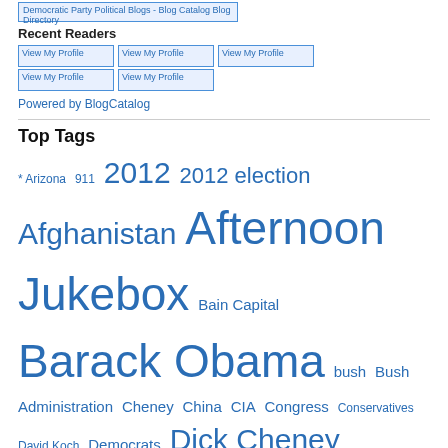[Figure (logo): Democratic Party Political Blogs - Blog Catalog Blog Directory image link]
Recent Readers
[Figure (photo): View My Profile image x5 (profile thumbnails)]
Powered by BlogCatalog
Top Tags
* Arizona 911 2012 2012 election Afghanistan Afternoon Jukebox Bain Capital Barack Obama bush Bush Administration Cheney China CIA Congress Conservatives David Koch Democrats Dick Cheney Economic Crisis Economy Egypt Election 2012 Elections 2012 Evening Jukebox Fox News Gaza George W. Bush Glenn Beck GOP Guantanamo Bay Guantánamo health care Health Care Reform